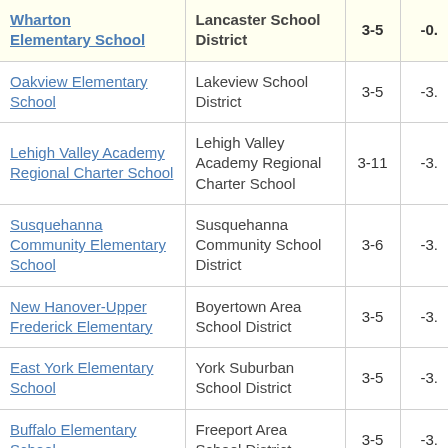| School | District | Grades | Value |
| --- | --- | --- | --- |
| Wharton Elementary School | Lancaster School District | 3-5 | -0. |
| Oakview Elementary School | Lakeview School District | 3-5 | -3. |
| Lehigh Valley Academy Regional Charter School | Lehigh Valley Academy Regional Charter School | 3-11 | -3. |
| Susquehanna Community Elementary School | Susquehanna Community School District | 3-6 | -3. |
| New Hanover-Upper Frederick Elementary | Boyertown Area School District | 3-5 | -3. |
| East York Elementary School | York Suburban School District | 3-5 | -3. |
| Buffalo Elementary School | Freeport Area School District | 3-5 | -3. |